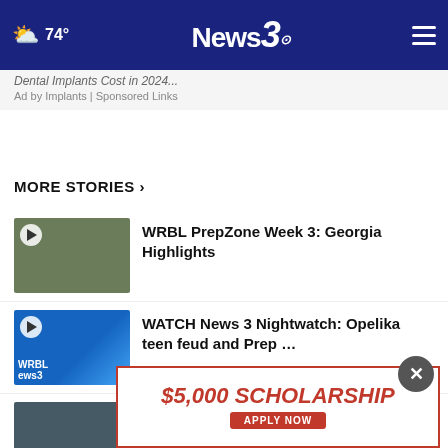74° News3
Ad by Implants | Sponsored Links
MORE STORIES ›
WRBL PrepZone Week 3: Georgia Highlights
WATCH News 3 Nightwatch: Opelika teen feud and Prep …
IRS unintentionally posted some private taxpayer …
[Figure (other): $5,000 SCHOLARSHIP APPLY NOW advertisement banner]